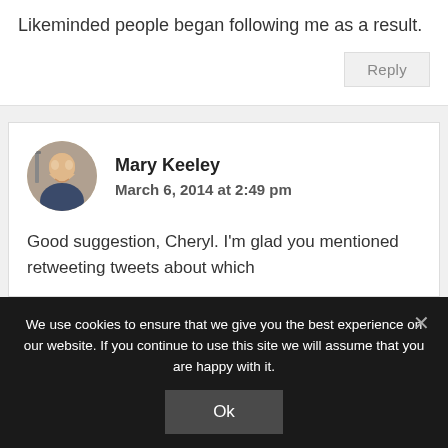Likeminded people began following me as a result.
Reply
Mary Keeley
March 6, 2014 at 2:49 pm
Good suggestion, Cheryl. I'm glad you mentioned retweeting tweets about which
We use cookies to ensure that we give you the best experience on our website. If you continue to use this site we will assume that you are happy with it.
Ok